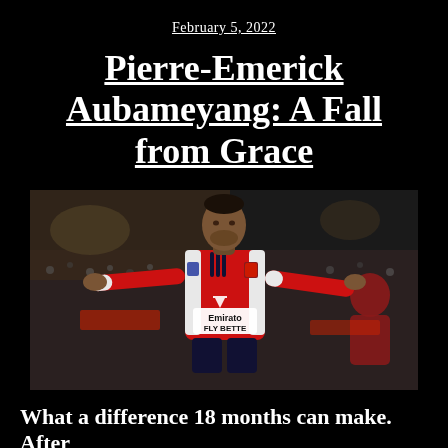February 5, 2022
Pierre-Emerick Aubameyang: A Fall from Grace
[Figure (photo): Pierre-Emerick Aubameyang in an Arsenal red and white kit with Emirates FLY BETTER sponsor, arms outstretched in a goal celebration, crowd blurred in background]
What a difference 18 months can make. After